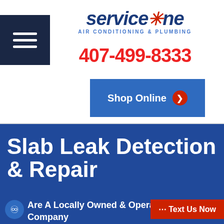[Figure (logo): ServiceOne Air Conditioning & Plumbing logo with blue italic text and red star symbol]
407-499-8333
[Figure (other): Blue Shop Online button with red circle arrow icon]
Slab Leak Detection & Repair
Are A Locally Owned & Operated Company